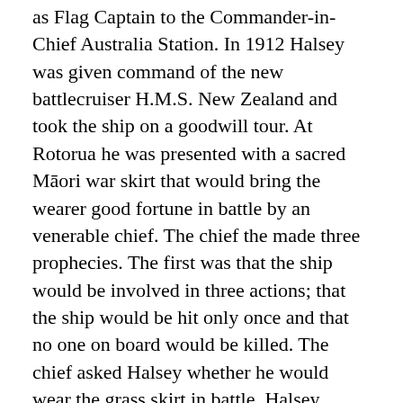as Flag Captain to the Commander-in-Chief Australia Station. In 1912 Halsey was given command of the new battlecruiser H.M.S. New Zealand and took the ship on a goodwill tour. At Rotorua he was presented with a sacred Māori war skirt that would bring the wearer good fortune in battle by an venerable chief. The chief the made three prophecies. The first was that the ship would be involved in three actions; that the ship would be hit only once and that no one on board would be killed. The chief asked Halsey whether he would wear the grass skirt in battle. Halsey agreed to do so not thinking he would ever have to honour the promise. On 28 August 1914 H.M.S. New Zealand went into action at Heligoland Bight. Halsey donned the war skirt over his trousers - and the ship came through unharmed. Halsey wore the grass skirt again at Dogger Bank (24 January 1915). Once more the ship came under heavy fire, but remained untouched. In May 1915 when Halsey was appointed Commodore 1st class and Captain of the Fleet in Jellicoe's flagship Iron Duke, he passed the